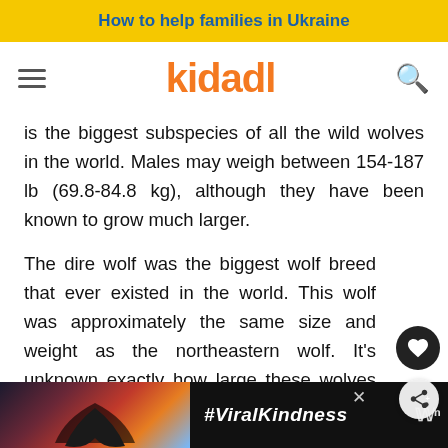How to help families in Ukraine
[Figure (logo): Kidadl website navigation bar with hamburger menu, orange Kidadl logo, and search icon]
is the biggest subspecies of all the wild wolves in the world. Males may weigh between 154-187 lb (69.8-84.8 kg), although they have been known to grow much larger.
The dire wolf was the biggest wolf breed that ever existed in the world. This wolf was approximately the same size and weight as the northeastern wolf. It's unknown exactly how large these wolves may have grown, but it wouldn't be shocking if they weighed 287 lb (130.2 kg).
[Figure (photo): Advertisement banner showing silhouette hands forming a heart shape against a colorful sunset background with #ViralKindness text]